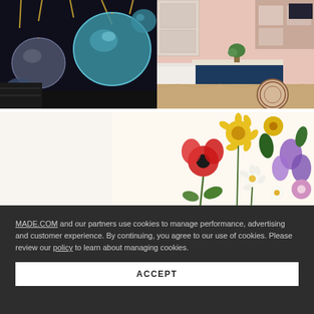[Figure (photo): Pendant glass globe lights in smoky blue and grey tones hanging from brass fittings against a dark background]
[Figure (photo): Modern kitchen with navy blue island, white countertop, herringbone wood floor, pink walls, and round rug]
[Figure (photo): Close-up of a floral wallpaper or fabric with bold botanical illustrations of daisies, poppies, and wildflowers in yellow, red, purple and green, with a dark green rounded chair back]
MADE.COM and our partners use cookies to manage performance, advertising and customer experience. By continuing, you agree to our use of cookies. Please review our policy to learn about managing cookies.
ACCEPT